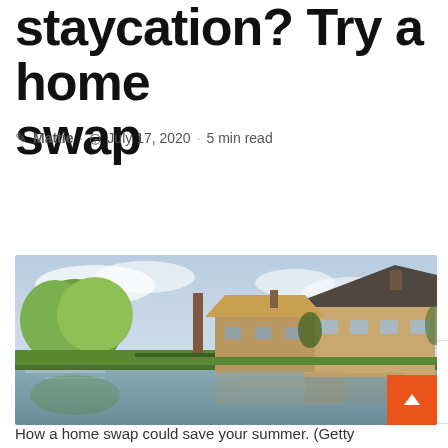staycation? Try a home swap
Mattie · July 17, 2020 · 5 min read
Table of Contents
[Figure (photo): A scenic countryside photo showing stone cottages with a chimney beside a calm river with reflections, surrounded by green trees and grass under a partly cloudy sky.]
How a home swap could save your summer. (Getty